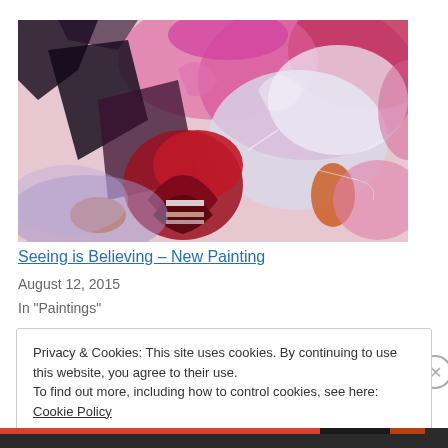[Figure (illustration): Abstract expressionist painting with dominant pink, red, magenta, white, black, lavender and orange colors, featuring swirling and splattered paint textures.]
Seeing is Believing – New Painting
August 12, 2015
In "Paintings"
Privacy & Cookies: This site uses cookies. By continuing to use this website, you agree to their use.
To find out more, including how to control cookies, see here: Cookie Policy
Close and accept